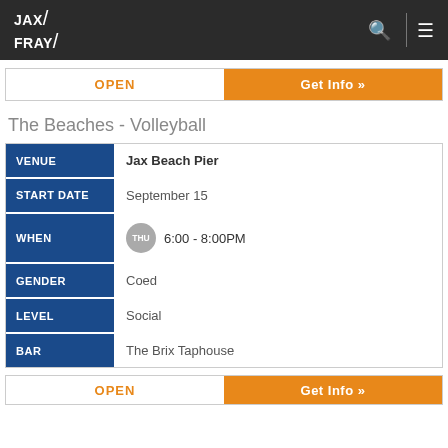JAX FRAY
OPEN | Get Info »
The Beaches - Volleyball
| Field | Value |
| --- | --- |
| VENUE | Jax Beach Pier |
| START DATE | September 15 |
| WHEN | THU 6:00 - 8:00PM |
| GENDER | Coed |
| LEVEL | Social |
| BAR | The Brix Taphouse |
OPEN | Get Info »